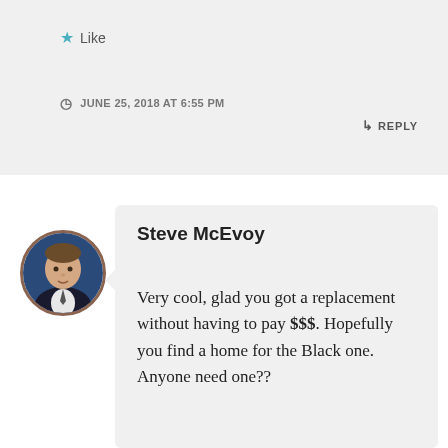★ Like
JUNE 25, 2018 AT 6:55 PM
↳ REPLY
[Figure (photo): Circular avatar photo of Steve McEvoy, a man in a suit against a blue background]
Steve McEvoy
Very cool, glad you got a replacement without having to pay $$$. Hopefully you find a home for the Black one. Anyone need one??